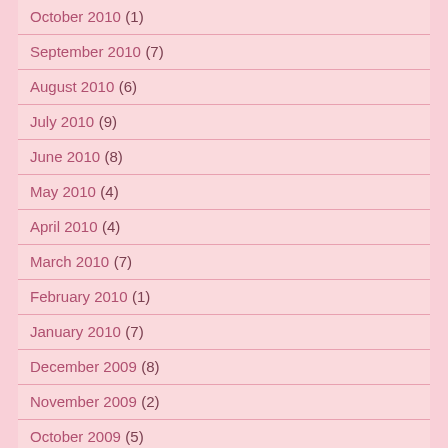October 2010 (1)
September 2010 (7)
August 2010 (6)
July 2010 (9)
June 2010 (8)
May 2010 (4)
April 2010 (4)
March 2010 (7)
February 2010 (1)
January 2010 (7)
December 2009 (8)
November 2009 (2)
October 2009 (5)
September 2009 (3)
August 2009 (4)